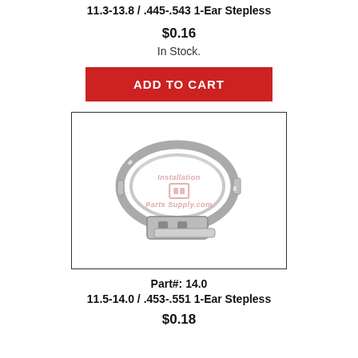11.3-13.8 / .445-.543 1-Ear Stepless
$0.16
In Stock.
ADD TO CART
[Figure (photo): Photo of a stainless steel 1-ear stepless clamp with watermark 'Installation Parts Supply.com']
Part#: 14.0
11.5-14.0 / .453-.551 1-Ear Stepless
$0.18